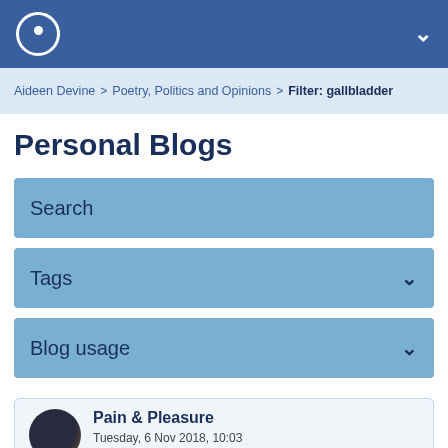Navigation bar with logo and chevron
Aideen Devine > Poetry, Politics and Opinions > Filter: gallbladder
Personal Blogs
Search
Tags
Blog usage
Pain & Pleasure
Tuesday, 6 Nov 2018, 10:03